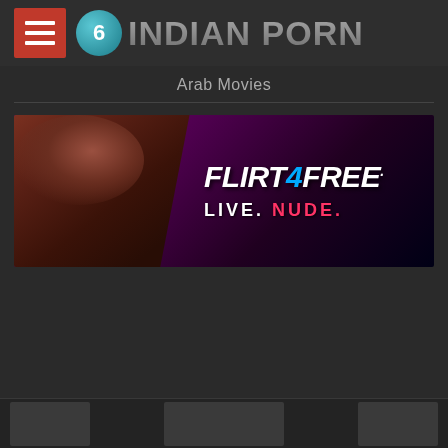6 Indian Porn
Arab Movies
[Figure (advertisement): Flirt4Free advertisement banner with text FLIRT 4 FREE LIVE. NUDE.]